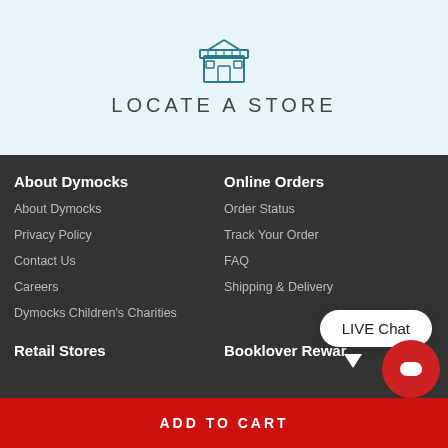[Figure (illustration): Store/shop icon in teal outline style]
LOCATE A STORE
About Dymocks
Online Orders
About Dymocks
Privacy Policy
Contact Us
Careers
Dymocks Children's Charities
Order Status
Track Your Order
FAQ
Shipping & Delivery
Retail Stores
Booklover Rewards
LIVE Chat
ADD TO CART